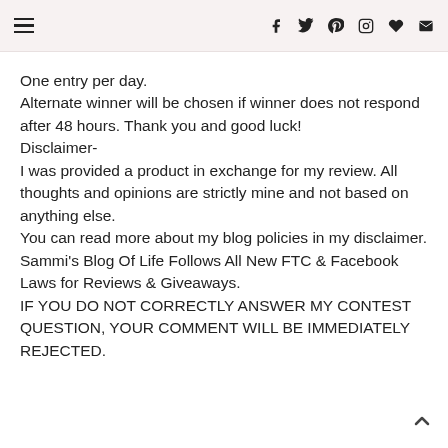[hamburger menu icon] [f] [twitter] [pinterest] [instagram] [heart] [envelope]
One entry per day.
Alternate winner will be chosen if winner does not respond after 48 hours. Thank you and good luck!
Disclaimer-
I was provided a product in exchange for my review. All thoughts and opinions are strictly mine and not based on anything else.
You can read more about my blog policies in my disclaimer.
Sammi's Blog Of Life Follows All New FTC & Facebook Laws for Reviews & Giveaways.
IF YOU DO NOT CORRECTLY ANSWER MY CONTEST QUESTION, YOUR COMMENT WILL BE IMMEDIATELY REJECTED.